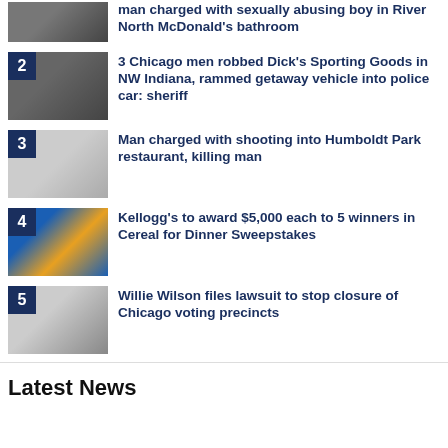man charged with sexually abusing boy in River North McDonald's bathroom
2 3 Chicago men robbed Dick's Sporting Goods in NW Indiana, rammed getaway vehicle into police car: sheriff
3 Man charged with shooting into Humboldt Park restaurant, killing man
4 Kellogg's to award $5,000 each to 5 winners in Cereal for Dinner Sweepstakes
5 Willie Wilson files lawsuit to stop closure of Chicago voting precincts
Latest News